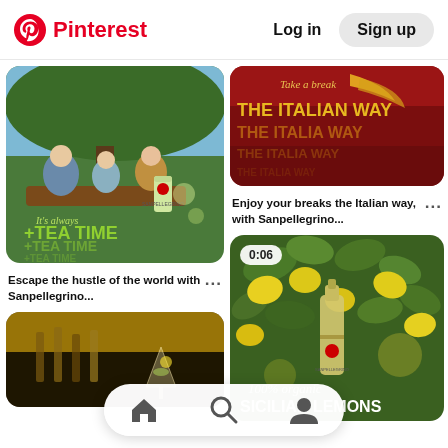[Figure (screenshot): Pinterest app screenshot showing header with Pinterest logo and Log in / Sign up buttons, and a masonry grid of Sanpellegrino beverage advertisement pins]
Pinterest   Log in   Sign up
[Figure (photo): People sitting at outdoor table under tree with Sanpellegrino tea can, text overlay: It's always +TEA TIME +TEA TIME +TEA TIME]
Escape the hustle of the world with Sanpellegrino...
[Figure (photo): Red background with golden text: Take a break THE ITALIAN WAY THE ITALIAN WAY THE ITALIAN WAY]
Enjoy your breaks the Italian way, with Sanpellegrino...
[Figure (photo): Video pin 0:06 — Lemon tree with Sanpellegrino bottle, text: 100% organic SICILIAN LEMONS]
[Figure (photo): Bottom left partial card showing cocktail drinks with bottles in background, dark golden tones]